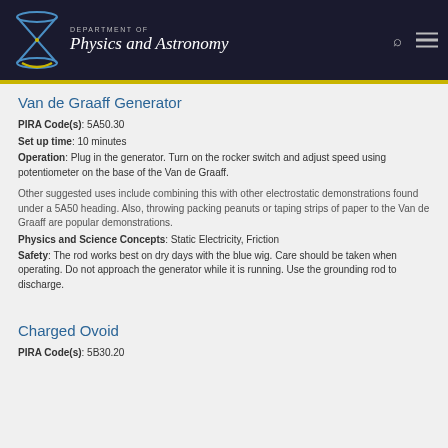DEPARTMENT OF Physics and Astronomy
Van de Graaff Generator
PIRA Code(s): 5A50.30
Set up time: 10 minutes
Operation: Plug in the generator. Turn on the rocker switch and adjust speed using potentiometer on the base of the Van de Graaff.
Other suggested uses include combining this with other electrostatic demonstrations found under a 5A50 heading. Also, throwing packing peanuts or taping strips of paper to the Van de Graaff are popular demonstrations.
Physics and Science Concepts: Static Electricity, Friction
Safety: The rod works best on dry days with the blue wig. Care should be taken when operating. Do not approach the generator while it is running. Use the grounding rod to discharge.
Charged Ovoid
PIRA Code(s): 5B30.20